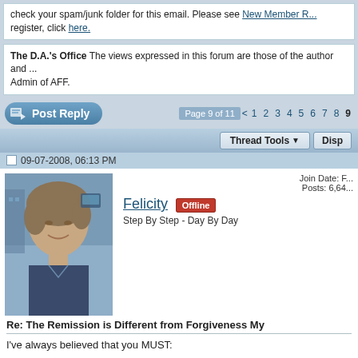check your spam/junk folder for this email. Please see New Member R... register, click here.
The D.A.'s Office The views expressed in this forum are those of the author and ... Admin of AFF.
Post Reply  Page 9 of 11 < 1 2 3 4 5 6 7 8 9
Thread Tools  Disp...
09-07-2008, 06:13 PM
[Figure (photo): Profile photo of user Felicity - woman with short hair smiling]
Join Date: F... Posts: 6,64...
Felicity  Offline
Step By Step - Day By Day
Re: The Remission is Different from Forgiveness My
I've always believed that you MUST:
1. repent
2. be baptized in the name of Jesus
3. receive the baptism of the Holy Ghost with the initial sign of spe...